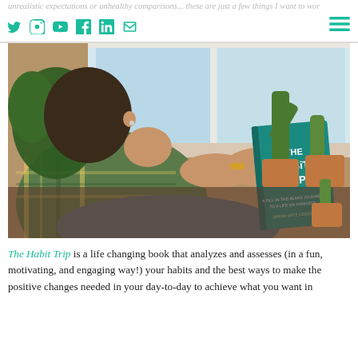unrealistic expectations or unhealthy comparisons... these are just a few things I want to work on!
[Figure (photo): A woman sitting by a window surrounded by potted cacti and plants, reading a teal book titled 'The Habit Trip: A Fill-in-the-Blank Journey to a Life on Purpose' by Sarah Artz Lobos]
The Habit Trip is a life changing book that analyzes and assesses (in a fun, motivating, and engaging way!) your habits and the best ways to make the positive changes needed in your day-to-day to achieve what you want in